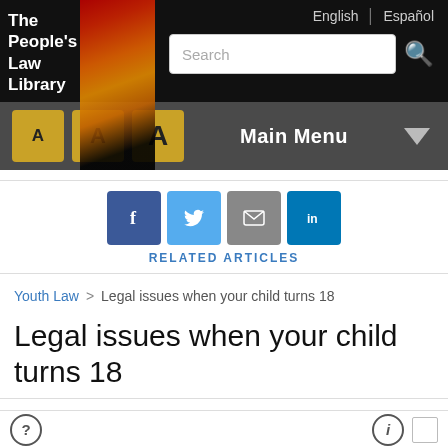The People's Law Library | English | Español | Search | Main Menu
[Figure (screenshot): Website navigation with logo, search bar, font size buttons (A A A), and Main Menu dropdown]
RELATED ARTICLES
Youth Law > Legal issues when your child turns 18
Legal issues when your child turns 18
18 is a momentous birthday. Your child can register to vote! Your son (but not your daughter) must register for the Selective